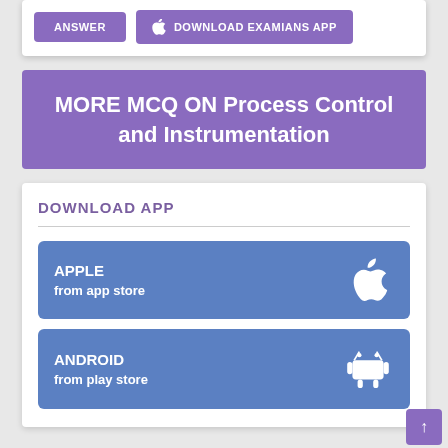[Figure (infographic): Two purple buttons: ANSWER and DOWNLOAD EXAMIANS APP with Apple icon]
MORE MCQ ON Process Control and Instrumentation
DOWNLOAD APP
[Figure (infographic): Apple App Store download button with Apple logo icon, showing APPLE / from app store]
[Figure (infographic): Android Play Store download button with Android robot icon, showing ANDROID / from play store]